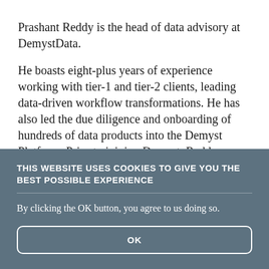Prashant Reddy is the head of data advisory at DemystData.
He boasts eight-plus years of experience working with tier-1 and tier-2 clients, leading data-driven workflow transformations. He has also led the due diligence and onboarding of hundreds of data products into the Demyst Platform. Prior to joining Demyst, Reddy
THIS WEBSITE USES COOKIES TO GIVE YOU THE BEST POSSIBLE EXPERIENCE
By clicking the OK button, you agree to us doing so.
OK